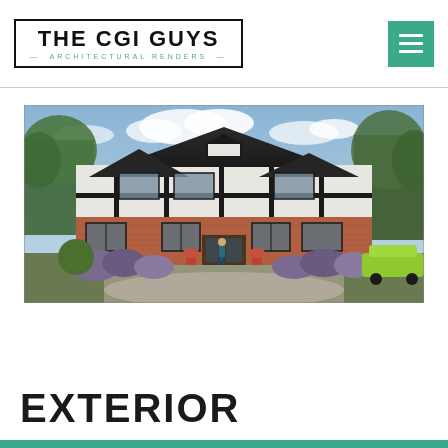THE CGI GUYS — ARCHITECTURAL RENDERS
[Figure (photo): Architectural CGI render of a large Tudor-style residential house with black timber framing on white render, brick lower floor, surrounded by lavender garden planting, mature trees in background, gravel driveway, person walking toward entrance, car visible on right side]
EXTERIOR